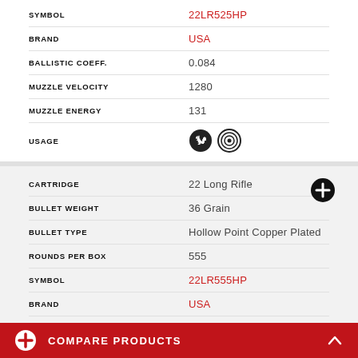SYMBOL: 22LR525HP
BRAND: USA
BALLISTIC COEFF.: 0.084
MUZZLE VELOCITY: 1280
MUZZLE ENERGY: 131
USAGE: [icons]
CARTRIDGE: 22 Long Rifle
BULLET WEIGHT: 36 Grain
BULLET TYPE: Hollow Point Copper Plated
ROUNDS PER BOX: 555
SYMBOL: 22LR555HP
BRAND: USA
BALLISTIC COEFF.: 0.084
MUZZLE VELOCITY: 1280
MUZZLE ENERGY: 131
COMPARE PRODUCTS